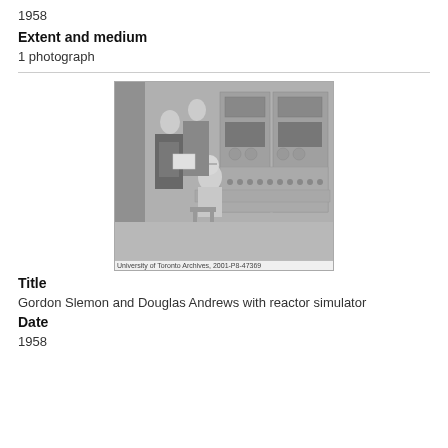1958
Extent and medium
1 photograph
[Figure (photo): Black and white photograph of three men (Gordon Slemon and Douglas Andrews) with a reactor simulator control panel. Two men stand behind a seated man who operates the equipment. Caption reads: University of Toronto Archives, 2001-P8-47369]
Title
Gordon Slemon and Douglas Andrews with reactor simulator
Date
1958